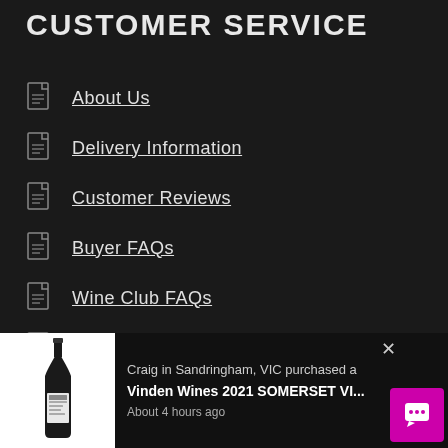CUSTOMER SERVICE
About Us
Delivery Information
Customer Reviews
Buyer FAQs
Wine Club FAQs
Winery FAQs
[Figure (screenshot): Notification popup: Craig in Sandringham, VIC purchased a Vinden Wines 2021 SOMERSET VI... About 4 hours ago, with wine bottle image and close button]